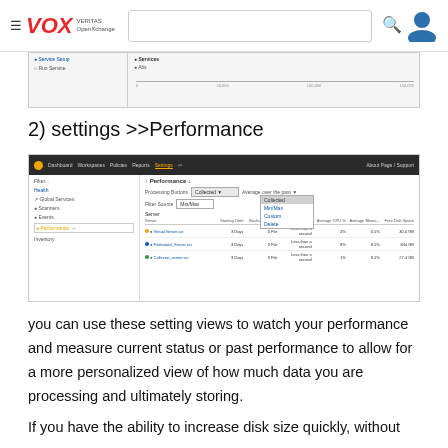VOX VERITAS OpenExchange — navigation header with search
[Figure (screenshot): Partial screenshot of a settings/performance UI showing a sidebar and a bar/slider interface]
2) settings >>Performance
[Figure (screenshot): Screenshot of Veritas OpenExchange Settings > Performance page showing a dropdown menu open with options: Collected, Min/Max, Custom, Delete, and a table with columns Starting Date, Backup File Co., Backup Age, Average CPU, Average Memory, Free Disk Space listing three entries]
you can use these setting views to watch your performance and measure current status or past performance to allow for a more personalized view of how much data you are processing and ultimately storing.
If you have the ability to increase disk size quickly, without